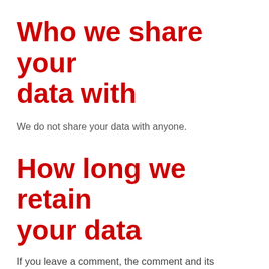Who we share your data with
We do not share your data with anyone.
How long we retain your data
If you leave a comment, the comment and its metadata are retained indefinitely. This is so we can recognize and approve any follow-up comments automatically instead of holding them in a moderation queue.